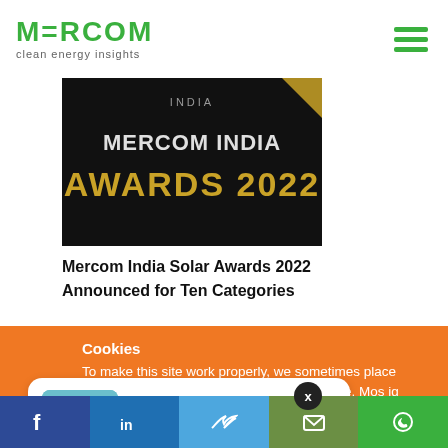MERCOM clean energy insights
[Figure (photo): Mercom India Awards 2022 banner with dark background and gold/white text]
Mercom India Solar Awards 2022 Announced for Ten Categories
Cookies
To make this site work properly, we sometimes place small data files called cookies on your device. Most big websites do this too.
[Figure (photo): Notification popup showing green electric scooter image with headline 'Electric Vehicle Battery Standards Amended for' and timestamp '4 hours ago']
[Figure (infographic): Social sharing bar with Facebook, LinkedIn, Twitter, Email, and WhatsApp buttons]